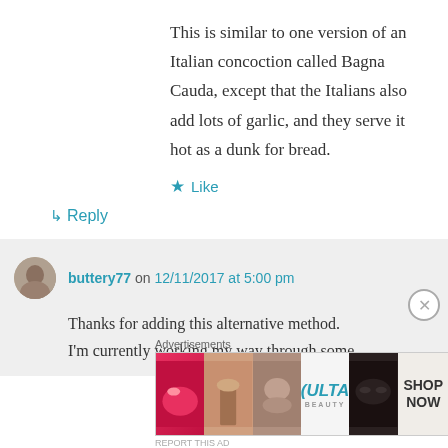This is similar to one version of an Italian concoction called Bagna Cauda, except that the Italians also add lots of garlic, and they serve it hot as a dunk for bread.
★ Like
↳ Reply
buttery77 on 12/11/2017 at 5:00 pm
Thanks for adding this alternative method. I'm currently working my way through some
Advertisements